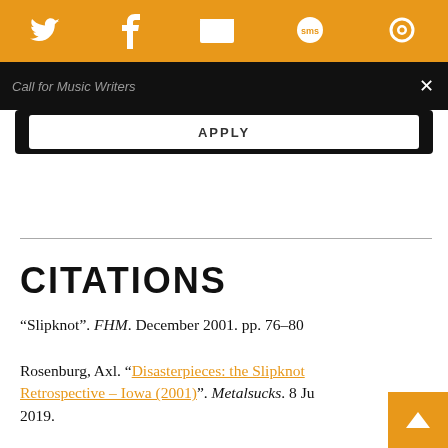[Figure (screenshot): Orange top navigation bar with social media icons: Twitter, Facebook, email/envelope, SMS speech bubble, and a circular arrow/refresh icon, all in white on orange background.]
Call for Music Writers
APPLY
CITATIONS
“Slipknot”. FHM. December 2001. pp. 76–80
Rosenburg, Axl. “Disasterpieces: the Slipknot Retrospective – Iowa (2001)”. Metalsucks. 8 Ju 2019.